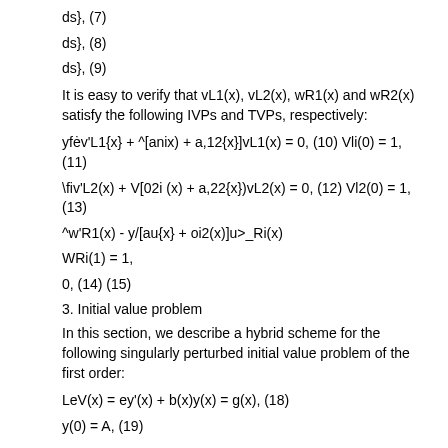It is easy to verify that vL1(x), vL2(x), wR1(x) and wR2(x) satisfy the following IVPs and TVPs, respectively:
3. Initial value problem
In this section, we describe a hybrid scheme for the following singularly perturbed initial value problem of the first order: